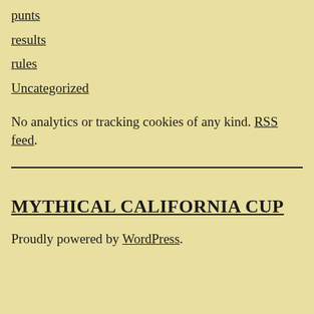punts
results
rules
Uncategorized
No analytics or tracking cookies of any kind. RSS feed.
MYTHICAL CALIFORNIA CUP
Proudly powered by WordPress.